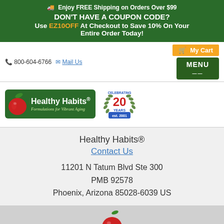🚚 Enjoy FREE Shipping on Orders Over $99
DON'T HAVE A COUPON CODE?
Use EZ10OFF At Checkout to Save 10% On Your Entire Order Today!
📞 800-604-6766 ✉ Mail Us
[Figure (logo): Healthy Habits logo with apple icon and tagline 'Formulations for Vibrant Aging' on green background]
[Figure (logo): Celebrating 20 Years est. 2001 badge with laurel wreath]
My Cart
MENU
Healthy Habits®
Contact Us
11201 N Tatum Blvd Ste 300
PMB 92578
Phoenix, Arizona 85028-6039 US
[Figure (illustration): Red apple icon]
COPYRIGHT © 2022, HEALTHY HABITS NATURAL HEALTH & WELLNESS (CANADA) ALL RIGHTS RESERVED
SIGN UP NOW